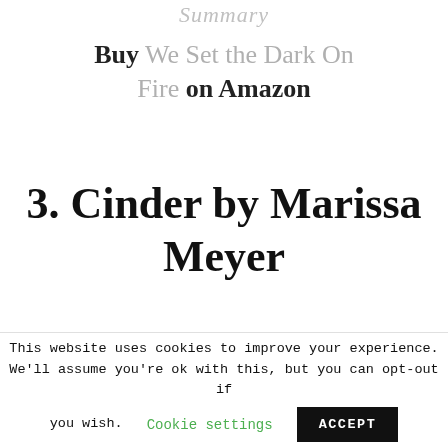Summary
Buy We Set the Dark On Fire on Amazon
3. Cinder by Marissa Meyer
[Figure (photo): Row of book spines on a shelf, showing various colorful books including titles such as Ballad of Songbirds, Lies, and others.]
This website uses cookies to improve your experience. We'll assume you're ok with this, but you can opt-out if you wish. Cookie settings ACCEPT